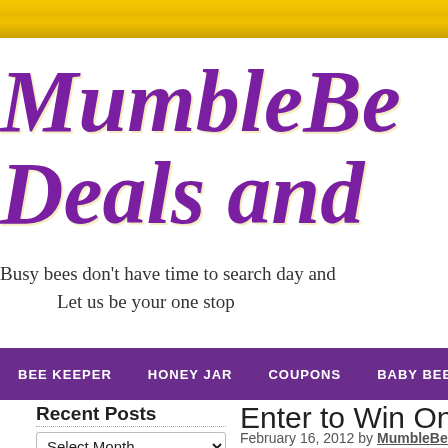[Figure (screenshot): Gold/yellow decorative bar at the top of the page]
MumbleBee Deals and
Busy bees don't have time to search day and Let us be your one stop
BEE KEEPER   HONEY JAR   COUPONS   BABY BEE'S   STORES
Recent Posts
Select Month
Enter to Win One of The
February 16, 2012 by MumbleBee  Leave
[Figure (other): Red Pinterest Save button]